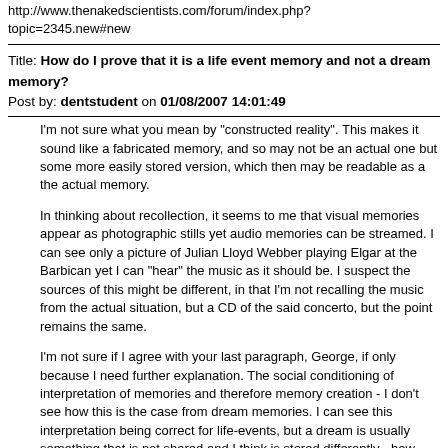http://www.thenakedscientists.com/forum/index.php?topic=2345.new#new
Title: How do I prove that it is a life event memory and not a dream memory?
Post by: dentstudent on 01/08/2007 14:01:49
I'm not sure what you mean by "constructed reality". This makes it sound like a fabricated memory, and so may not be an actual one but some more easily stored version, which then may be readable as a the actual memory.
In thinking about recollection, it seems to me that visual memories appear as photographic stills yet audio memories can be streamed. I can see only a picture of Julian Lloyd Webber playing Elgar at the Barbican yet I can "hear" the music as it should be. I suspect the sources of this might be different, in that I'm not recalling the music from the actual situation, but a CD of the said concerto, but the point remains the same.
I'm not sure if I agree with your last paragraph, George, if only because I need further explanation. The social conditioning of interpretation of memories and therefore memory creation - I don't see how this is the case from dream memories. I can see this interpretation being correct for life-events, but a dream is usually something that is not shared and I think is stored differently - how does social conditioning interact with something that is entirely personal?